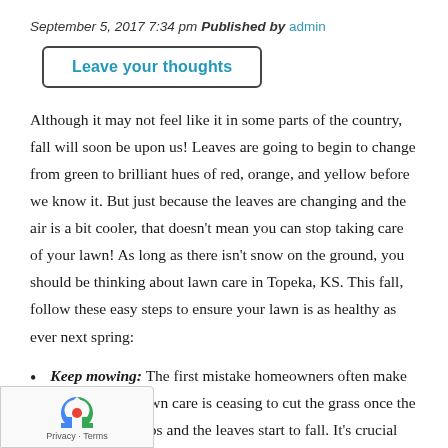September 5, 2017 7:34 pm Published by admin
Leave your thoughts
Although it may not feel like it in some parts of the country, fall will soon be upon us! Leaves are going to begin to change from green to brilliant hues of red, orange, and yellow before we know it. But just because the leaves are changing and the air is a bit cooler, that doesn't mean you can stop taking care of your lawn! As long as there isn't snow on the ground, you should be thinking about lawn care in Topeka, KS. This fall, follow these easy steps to ensure your lawn is as healthy as ever next spring:
Keep mowing: The first mistake homeowners often make regarding fall lawn care is ceasing to cut the grass once the temperature drops and the leaves start to fall. It's crucial that you continue to mow and water your lawn as needed until winter is nearly here. Keeping your lawn shorter will allow